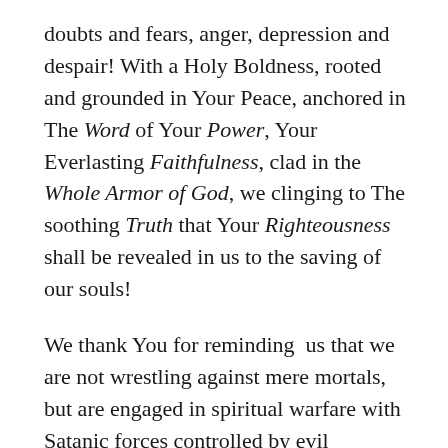doubts and fears, anger, depression and despair! With a Holy Boldness, rooted and grounded in Your Peace, anchored in The Word of Your Power, Your Everlasting Faithfulness, clad in the Whole Armor of God, we clinging to The soothing Truth that Your Righteousness shall be revealed in us to the saving of our souls!
We thank You for reminding  us that we are not wrestling against mere mortals, but are engaged in spiritual warfare with Satanic forces controlled by evil scheming, deception rulers of darkness and wickedness in high places! Moreover, we have Your assurance, having sworn by Godself, that You will never leave us or abandon us but will always cause us